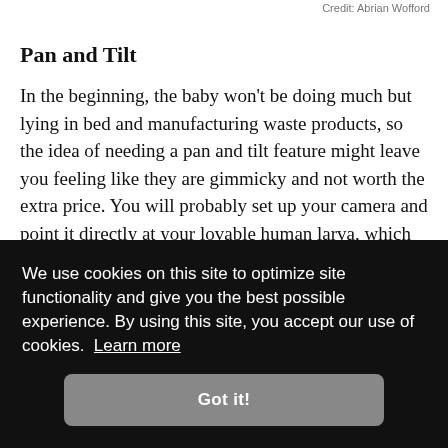Credit: Abrian Wofford
Pan and Tilt
In the beginning, the baby won't be doing much but lying in bed and manufacturing waste products, so the idea of needing a pan and tilt feature might leave you feeling like they are gimmicky and not worth the extra price. You will probably set up your camera and point it directly at your lovable human larva, which will be the end of the story. Unfortunately, or fortunately, depending on your point of [view, you might ...] it, [sometimes] [happens,] [ng,] [es to a
We use cookies on this site to optimize site functionality and give you the best possible experience. By using this site, you accept our use of cookies.  Learn more
Got it!